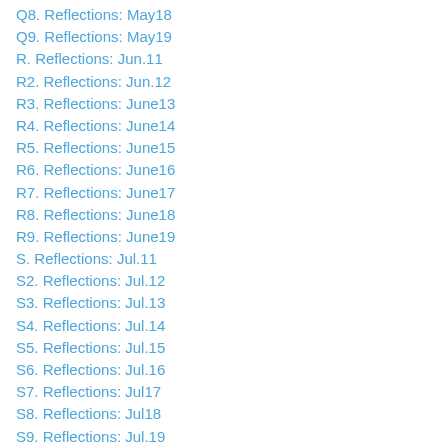Q8. Reflections: May18
Q9. Reflections: May19
R. Reflections: Jun.11
R2. Reflections: Jun.12
R3. Reflections: June13
R4. Reflections: June14
R5. Reflections: June15
R6. Reflections: June16
R7. Reflections: June17
R8. Reflections: June18
R9. Reflections: June19
S. Reflections: Jul.11
S2. Reflections: Jul.12
S3. Reflections: Jul.13
S4. Reflections: Jul.14
S5. Reflections: Jul.15
S6. Reflections: Jul.16
S7. Reflections: Jul17
S8. Reflections: Jul18
S9. Reflections: Jul.19